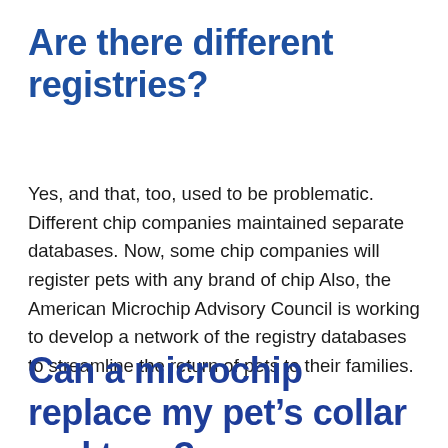Are there different registries?
Yes, and that, too, used to be problematic. Different chip companies maintained separate databases. Now, some chip companies will register pets with any brand of chip Also, the American Microchip Advisory Council is working to develop a network of the registry databases to streamline the return of pets to their families.
Can a microchip replace my pet’s collar and tags?